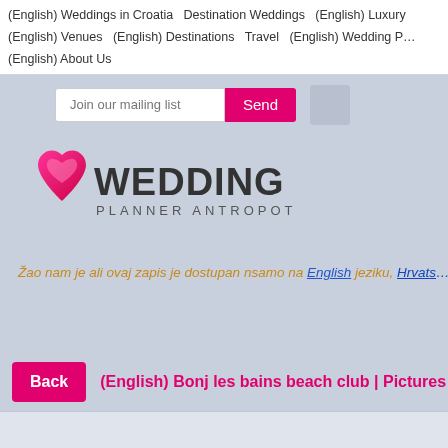(English) Weddings in Croatia  Destination Weddings  (English) Luxury  (English) Venues  (English) Destinations  Travel  (English) Wedding P…  (English) About Us
[Figure (screenshot): Email signup form with text 'Join our mailing list' and a pink 'Send' button, plus a social media placeholder icon]
[Figure (logo): Wedding Planner Antropoti logo — heart shape in pink/red gradient on left, 'WEDDING' in large bold dark text, 'PLANNER ANTROPOTI' in smaller text below]
Žao nam je ali ovaj zapis je dostupan nsamo na English jeziku, Hrvat…
Back   (English) Bonj les bains beach club | Pictures